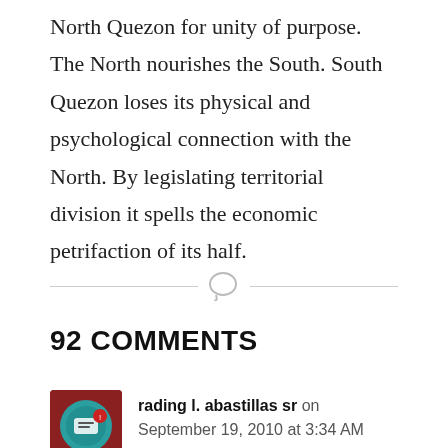North Quezon for unity of purpose. The North nourishes the South. South Quezon loses its physical and psychological connection with the North. By legislating territorial division it spells the economic petrifaction of its half.
[Figure (other): Horizontal divider with a speech bubble icon in the center]
92 COMMENTS
rading l. abastillas sr on September 19, 2010 at 3:34 AM